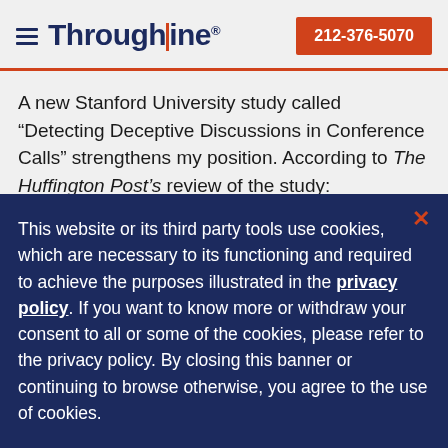Throughline | 212-376-5070
A new Stanford University study called “Detecting Deceptive Discussions in Conference Calls” strengthens my position. According to The Huffington Post’s review of the study:
This website or its third party tools use cookies, which are necessary to its functioning and required to achieve the purposes illustrated in the privacy policy. If you want to know more or withdraw your consent to all or some of the cookies, please refer to the privacy policy. By closing this banner or continuing to browse otherwise, you agree to the use of cookies.